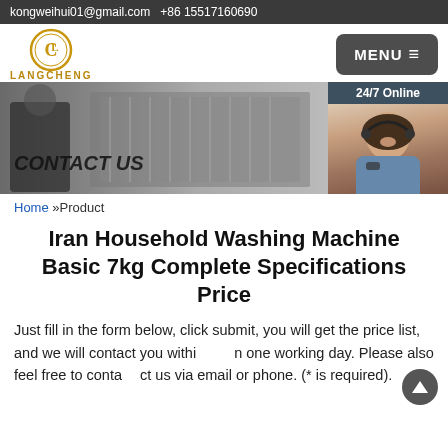kongweihui01@gmail.com  +86 15517160690
[Figure (logo): Langcheng brand logo with circular CL monogram and LANGCHENG text below in gold]
[Figure (screenshot): MENU hamburger button in dark rounded rectangle]
[Figure (photo): Banner image showing dishwasher and person, with CONTACT US text overlay and 24/7 Online chat panel with woman photo, Click here for free chat and QUOTATION button on the right side]
Home »Product
Iran Household Washing Machine Basic 7kg Complete Specifications Price
Just fill in the form below, click submit, you will get the price list, and we will contact you within one working day. Please also feel free to contact us via email or phone. (* is required).